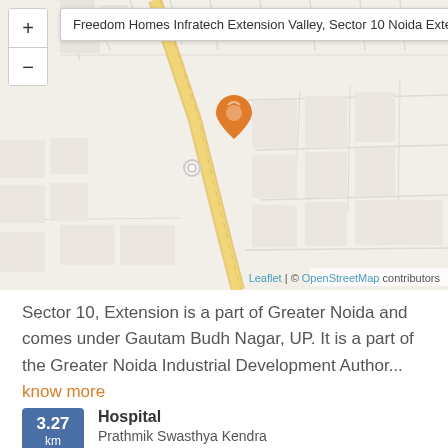[Figure (map): OpenStreetMap-based interactive map showing location of Freedom Homes Infratech Extension Valley, Sector 10 Noida Extension. An orange location pin marks the property. Yellow road runs diagonally. Map includes zoom controls (+/-) and attribution to Leaflet and OpenStreetMap contributors.]
Sector 10, Extension is a part of Greater Noida and comes under Gautam Budh Nagar, UP. It is a part of the Greater Noida Industrial Development Author... know more
3.27 km Hospital Prathmik Swasthya Kendra